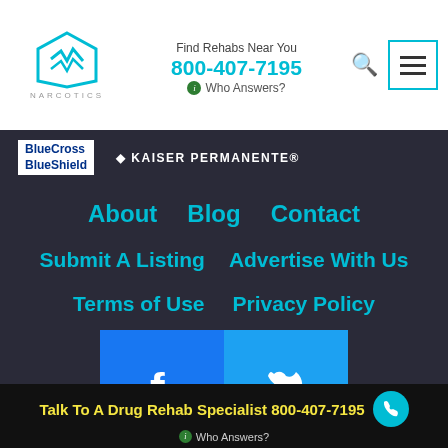NARCOTICS | Find Rehabs Near You 800-407-7195 | Who Answers?
[Figure (logo): BlueCross BlueShield logo and Kaiser Permanente logo on dark background]
About   Blog   Contact
Submit A Listing   Advertise With Us
Terms of Use   Privacy Policy
[Figure (infographic): Facebook and Twitter social media icons in blue boxes]
© 2022 Narcotics.com, All Rights Reserved
Talk To A Drug Rehab Specialist 800-407-7195 | Who Answers?